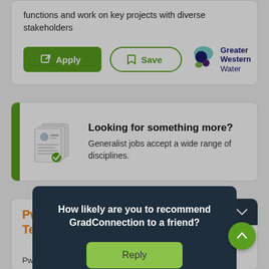functions and work on key projects with diverse stakeholders
[Figure (screenshot): Apply button (green) and Save button (outlined green) with Greater Western Water logo]
[Figure (infographic): Promotional card with green sidebar, resume icon, heading 'Looking for something more?' and text 'Generalist jobs accept a wide range of disciplines.']
Looking for something more?
Generalist jobs accept a wide range of disciplines.
PwC Technology
PwC
How likely are you to recommend GradConnection to a friend?
Reply